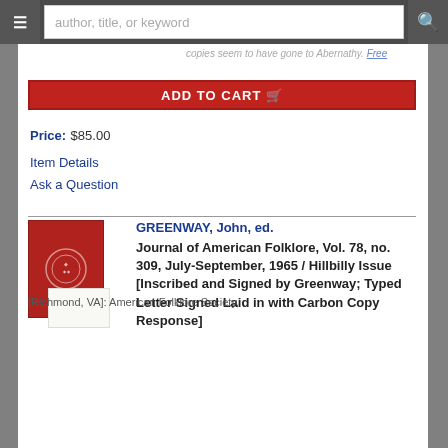author, title, or keyword
copies seem to have gone to Abernathy. Free
ADD TO CART
Price: $85.00
Item Details
Ask a Question
GREENWAY, John, ed.
Journal of American Folklore, Vol. 78, no. 309, July-September, 1965 / Hillbilly Issue [Inscribed and Signed by Greenway; Typed Letter Signed Laid in with Carbon Copy Response]
[Richmond, VA]: American Folklore Society,